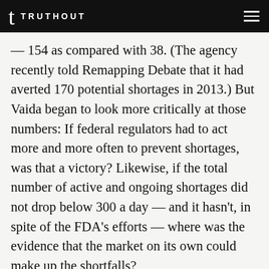TRUTHOUT
— 154 as compared with 38. (The agency recently told Remapping Debate that it had averted 170 potential shortages in 2013.) But Vaida began to look more critically at those numbers: If federal regulators had to act more and more often to prevent shortages, was that a victory? Likewise, if the total number of active and ongoing shortages did not drop below 300 a day — and it hasn't, in spite of the FDA's efforts — where was the evidence that the market on its own could make up the shortfalls?